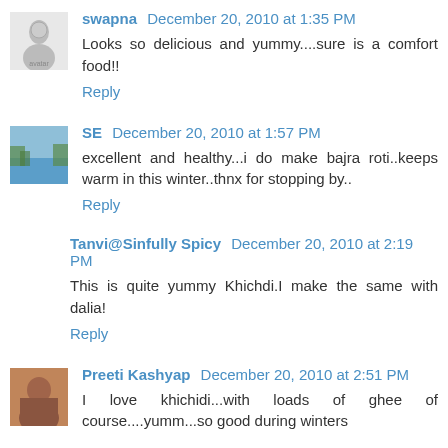swapna December 20, 2010 at 1:35 PM
Looks so delicious and yummy....sure is a comfort food!!
Reply
SE December 20, 2010 at 1:57 PM
excellent and healthy...i do make bajra roti..keeps warm in this winter..thnx for stopping by..
Reply
Tanvi@Sinfully Spicy December 20, 2010 at 2:19 PM
This is quite yummy Khichdi.I make the same with dalia!
Reply
Preeti Kashyap December 20, 2010 at 2:51 PM
I love khichidi...with loads of ghee of course....yumm...so good during winters